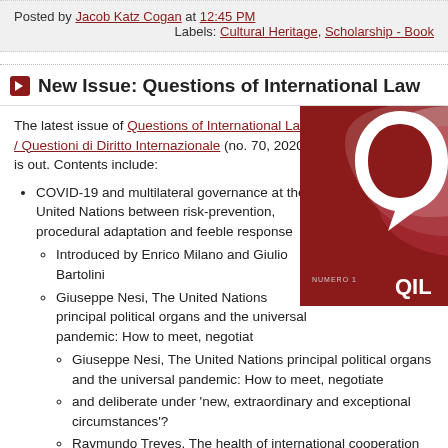Posted by Jacob Katz Cogan at 12:45 PM
Labels: Cultural Heritage, Scholarship - Book
New Issue: Questions of International Law
The latest issue of Questions of International Law / Questioni di Diritto Internazionale (no. 70, 2020) is out. Contents include:
[Figure (photo): Book cover of Questions of International Law (QIL), dark red/maroon cover with stylized white design and text 'NUMERO 1' and 'QIL']
COVID-19 and multilateral governance at the United Nations between risk-prevention, procedural adaptation and feeble response
Introduced by Enrico Milano and Giulio Bartolini
Giuseppe Nesi, The United Nations principal political organs and the universal pandemic: How to meet, negotiate and deliberate under 'new, extraordinary and exceptional circumstances'?
Raymundo Treves, The health of international cooperation